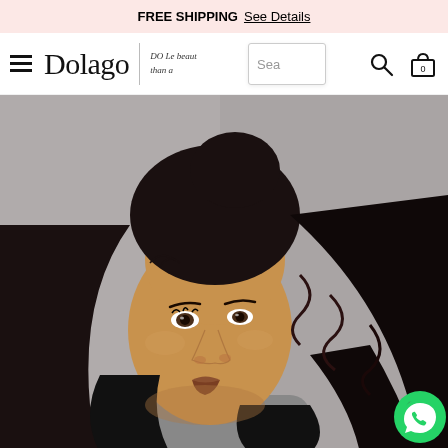FREE SHIPPING  See Details
Dolago
DO Le beaut than a
Sea
[Figure (photo): Young woman with long curly black hair pulled up in a half-updo ponytail style, wearing natural makeup, photographed against a grey background. A WhatsApp chat icon appears in the lower-right corner.]